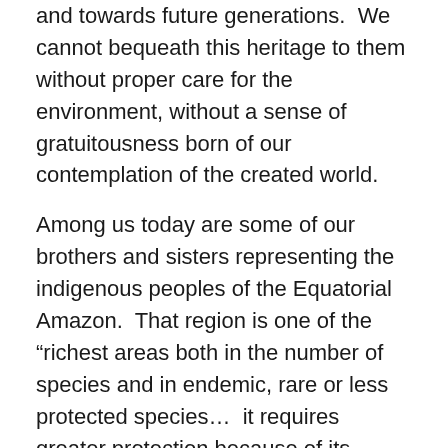and towards future generations.  We cannot bequeath this heritage to them without proper care for the environment, without a sense of gratuitousness born of our contemplation of the created world.
Among us today are some of our brothers and sisters representing the indigenous peoples of the Equatorial Amazon.  That region is one of the “richest areas both in the number of species and in endemic, rare or less protected species…  it requires greater protection because of its immense importance for the global ecosystem… it possesses an enormously complex biodiversity which is almost impossible to appreciate fully, yet when [such woodlands] are burned down or leveled for purposes of cultivation, within the space of a few years countless species are lost and the areas frequently become arid